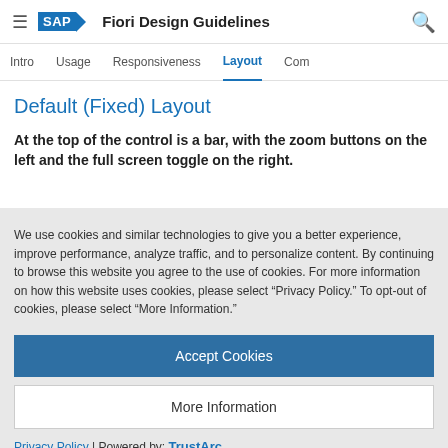SAP Fiori Design Guidelines
Intro | Usage | Responsiveness | Layout | Comp
Default (Fixed) Layout
At the top of the control is a bar, with the zoom buttons on the left and the full screen toggle on the right.
We use cookies and similar technologies to give you a better experience, improve performance, analyze traffic, and to personalize content. By continuing to browse this website you agree to the use of cookies. For more information on how this website uses cookies, please select “Privacy Policy.” To opt-out of cookies, please select “More Information.”
Accept Cookies
More Information
Privacy Policy | Powered by: TrustArc
or multiple elements. Dotted arrows pointing to semi-